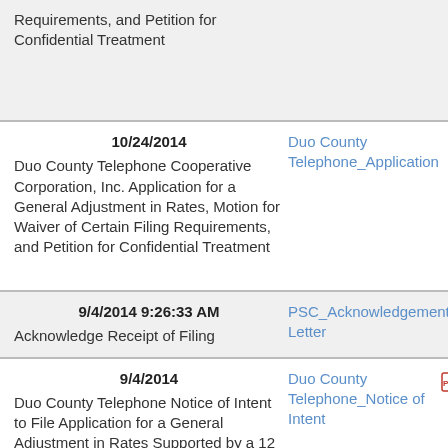Requirements, and Petition for Confidential Treatment
| Date/Description | Document | PDF |
| --- | --- | --- |
| 10/24/2014
Duo County Telephone Cooperative Corporation, Inc. Application for a General Adjustment in Rates, Motion for Waiver of Certain Filing Requirements, and Petition for Confidential Treatment | Duo County Telephone_Application | PDF |
| 9/4/2014 9:26:33 AM
Acknowledge Receipt of Filing | PSC_Acknowledgement Letter | PDF |
| 9/4/2014
Duo County Telephone Notice of Intent to File Application for a General Adjustment in Rates Supported by a 12 Month Historical Test Period | Duo County Telephone_Notice of Intent | PDF |